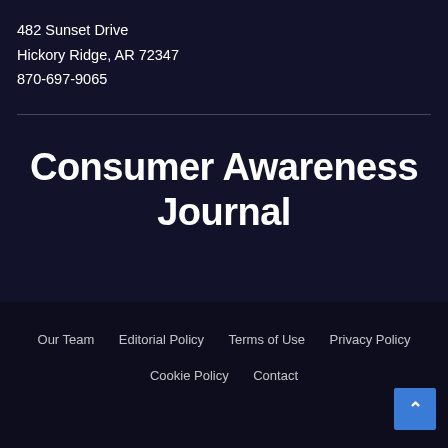482 Sunset Drive
Hickory Ridge, AR 72347
870-697-9065
Consumer Awareness Journal
Our Team   Editorial Policy   Terms of Use   Privacy Policy   Cookie Policy   Contact